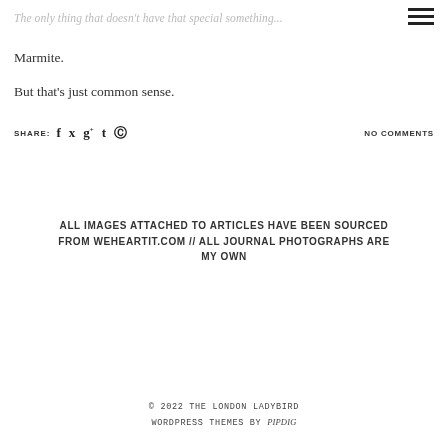The only thing that doesn't have that special something...
[Figure (other): Hamburger menu icon (three horizontal bars) in top right corner]
Marmite.
But that's just common sense.
SHARE: [Facebook] [Twitter] [Google+] [Tumblr] [Pinterest]    NO COMMENTS
ALL IMAGES ATTACHED TO ARTICLES HAVE BEEN SOURCED FROM WEHEARTIT.COM // ALL JOURNAL PHOTOGRAPHS ARE MY OWN
© 2022 THE LONDON LADYBIRD
WORDPRESS THEMES BY pipdig